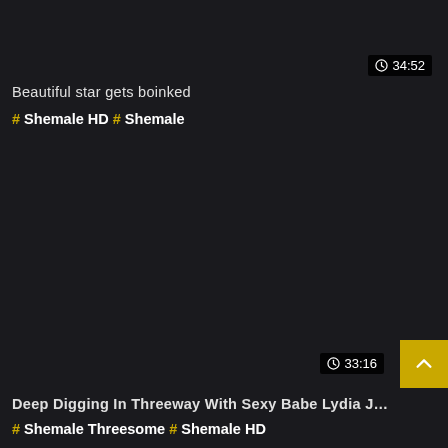⏱ 34:52
Beautiful star gets boinked
# Shemale HD # Shemale
[Figure (screenshot): Dark background video thumbnail area, empty/dark]
⏱ 33:16
Deep Digging In Threeway With Sexy Babe Lydia Jessy Grac…
# Shemale Threesome # Shemale HD